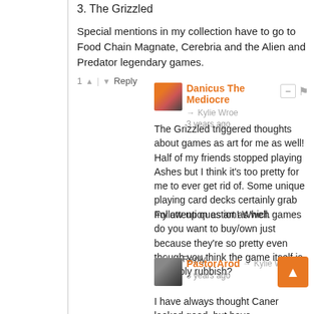3. The Grizzled
Special mentions in my collection have to go to Food Chain Magnate, Cerebria and the Alien and Predator legendary games.
1 ↑ | ↓ Reply
Danicus The Mediocre → Kylie Wroe
3 years ago
The Grizzled triggered thoughts about games as art for me as well! Half of my friends stopped playing Ashes but I think it's too pretty for me to ever get rid of. Some unique playing card decks certainly grab my attention as art as well.

Follow-up question! Which games do you want to buy/own just because they're so pretty even though you think the game itself is probably rubbish?
↑ | ↓ Reply
PastorArod → Kylie Wroe
3 years ago
I have always thought Caner looked good, but have